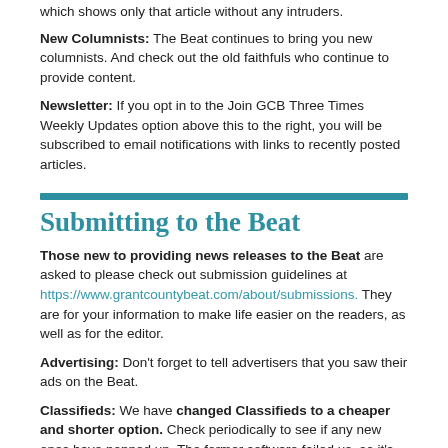which shows only that article without any intruders.
New Columnists: The Beat continues to bring you new columnists. And check out the old faithfuls who continue to provide content.
Newsletter: If you opt in to the Join GCB Three Times Weekly Updates option above this to the right, you will be subscribed to email notifications with links to recently posted articles.
Submitting to the Beat
Those new to providing news releases to the Beat are asked to please check out submission guidelines at https://www.grantcountybeat.com/about/submissions. They are for your information to make life easier on the readers, as well as for the editor.
Advertising: Don't forget to tell advertisers that you saw their ads on the Beat.
Classifieds: We have changed Classifieds to a cheaper and shorter option. Check periodically to see if any new ones have popped up. The former software failed us, so it's just a category now, with prices posted. Send your information to editor@grantcountybeat.com and we will post it as soon as we can